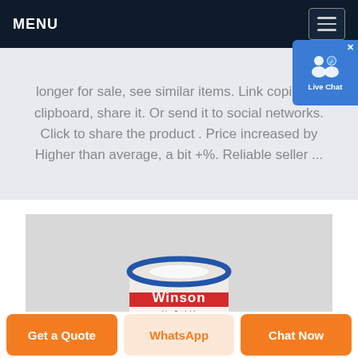MENU
longer for sale, see similar items. Link copied to clipboard, share it. Or send it to social networks. Click to share the product . Price increased by Higher than average, a bit +%. Reliable seller ...
[Figure (photo): A cylindrical Winson sensor product (白盒科技, WINSENSOR CO8) with a blue and red label on a grey background]
Get a Quote
WhatsApp
Chat Now